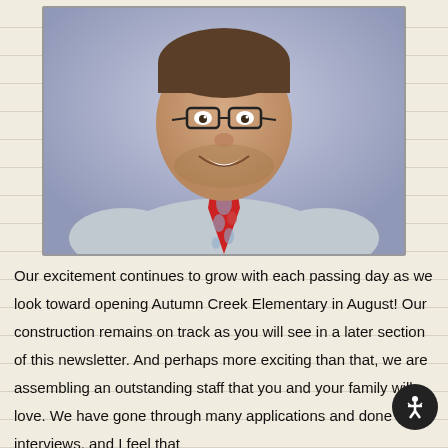[Figure (photo): Professional headshot of a smiling man with a beard and glasses, wearing a light grey dress shirt and a red paisley tie, photographed against a blue-grey background.]
Our excitement continues to grow with each passing day as we look toward opening Autumn Creek Elementary in August! Our construction remains on track as you will see in a later section of this newsletter. And perhaps more exciting than that, we are assembling an outstanding staff that you and your family will love. We have gone through many applications and done many interviews, and I feel that